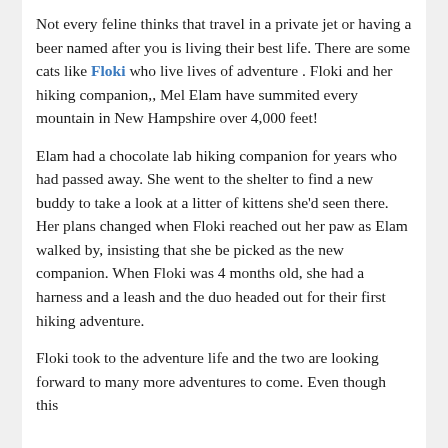[Figure (photo): Two photos side by side: left photo shows a tabby cat outdoors on rocky terrain with moss; right photo shows a woman in a blue jacket holding a cat outdoors.]
Not every feline thinks that travel in a private jet or having a beer named after you is living their best life. There are some cats like Floki who live lives of adventure . Floki and her hiking companion,, Mel Elam have summited every mountain in New Hampshire over 4,000 feet!
Elam had a chocolate lab hiking companion for years who had passed away. She went to the shelter to find a new buddy to take a look at a litter of kittens she'd seen there. Her plans changed when Floki reached out her paw as Elam walked by, insisting that she be picked as the new companion. When Floki was 4 months old, she had a harness and a leash and the duo headed out for their first hiking adventure.
Floki took to the adventure life and the two are looking forward to many more adventures to come. Even though this feline is hitting the slopes, it sounds like the Olivia of fart...